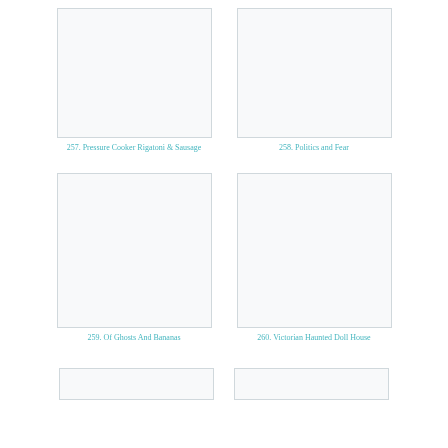[Figure (photo): Thumbnail image placeholder for item 257]
257. Pressure Cooker Rigatoni & Sausage
[Figure (photo): Thumbnail image placeholder for item 258]
258. Politics and Fear
[Figure (photo): Thumbnail image placeholder for item 259]
259. Of Ghosts And Bananas
[Figure (photo): Thumbnail image placeholder for item 260]
260. Victorian Haunted Doll House
[Figure (photo): Thumbnail image placeholder for item 261 (partial)]
[Figure (photo): Thumbnail image placeholder for item 262 (partial)]